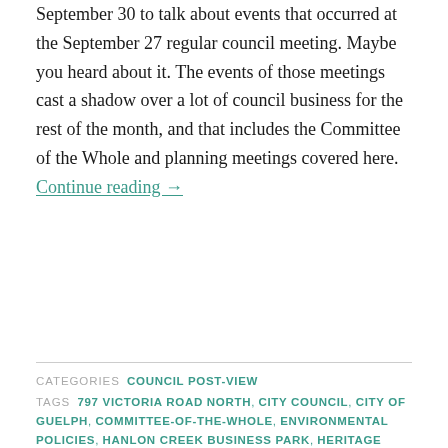September 30 to talk about events that occurred at the September 27 regular council meeting. Maybe you heard about it. The events of those meetings cast a shadow over a lot of council business for the rest of the month, and that includes the Committee of the Whole and planning meetings covered here. Continue reading →
CATEGORIES  COUNCIL POST-VIEW
TAGS  797 VICTORIA ROAD NORTH, CITY COUNCIL, CITY OF GUELPH, COMMITTEE-OF-THE-WHOLE, ENVIRONMENTAL POLICIES, HANLON CREEK BUSINESS PARK, HERITAGE GUELPH, MINISTRY OF TRANSPORTATION, PLANNING ACT, PLANNING MEETING, PROCEDURAL BYLAW, PUBLIC PETITIONS, REAL ESTATE ASSETS, SHORTREED FARMHOUSE, TREE REMOVAL, URBAN DESIGN AWARDS